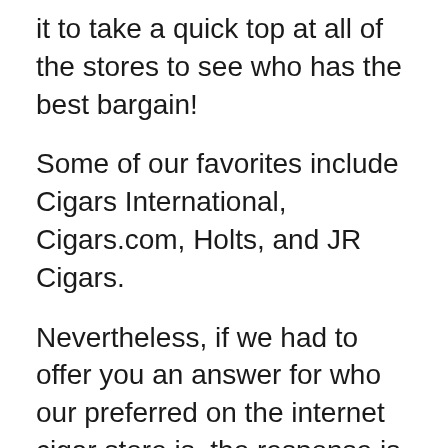it to take a quick top at all of the stores to see who has the best bargain!
Some of our favorites include Cigars International, Cigars.com, Holts, and JR Cigars.
Nevertheless, if we had to offer you an answer for who our preferred on the internet cigar store is, the response is straightforward: Famous Smoke Shop.
In our opinion, it's truly tough to beat the continuous offers and promotions supplied by Famous Smoke. They have a huge selection of awesome cigars as well as they're constantly running enticing promos. Take care however, it's very easy to spend